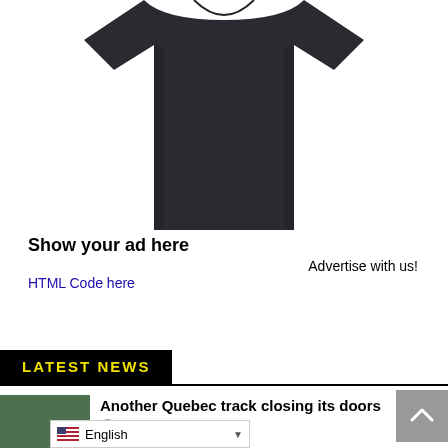[Figure (photo): Dark navy/charcoal t-shirt product photo showing the torso and lower portion, white background]
Show your ad here
Advertise with us!
HTML Code here
LATEST NEWS
Another Quebec track closing its doors
0
English